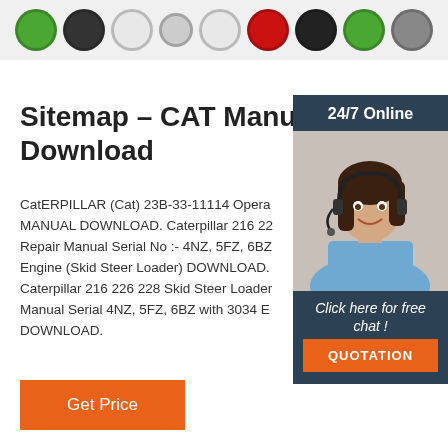[Figure (photo): Row of colorful circular caps or bearings at the top of the page]
Sitemap – CAT Manual Download
CatERPILLAR (Cat) 23B-33-11114 Opera MANUAL DOWNLOAD. Caterpillar 216 22 Repair Manual Serial No :- 4NZ, 5FZ, 6BZ Engine (Skid Steer Loader) DOWNLOAD. Caterpillar 216 226 228 Skid Steer Loader Manual Serial 4NZ, 5FZ, 6BZ with 3034 E DOWNLOAD.
[Figure (photo): Woman with headset smiling, representing 24/7 online customer support chat widget]
Get Price